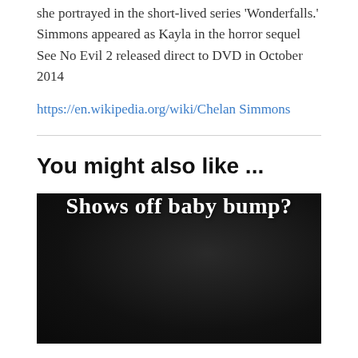she portrayed in the short-lived series 'Wonderfalls.' Simmons appeared as Kayla in the horror sequel See No Evil 2 released direct to DVD in October 2014
https://en.wikipedia.org/wiki/Chelan Simmons
You might also like ...
[Figure (photo): Dark background image with white bold text reading 'Shows off baby bump?']